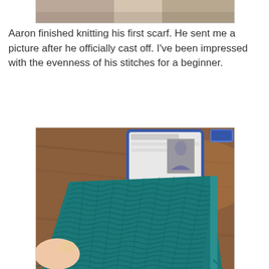[Figure (photo): Top cropped photo showing bottom edge of a previous image, partially visible.]
Aaron finished knitting his first scarf. He sent me a picture after he officially cast off. I've been impressed with the evenness of his stitches for a beginner.
[Figure (photo): Photo of a teal/blue knitted scarf laid on a wooden table, with a tablet device visible in the background showing a social media profile. A hand is holding the bottom-left corner of the scarf.]